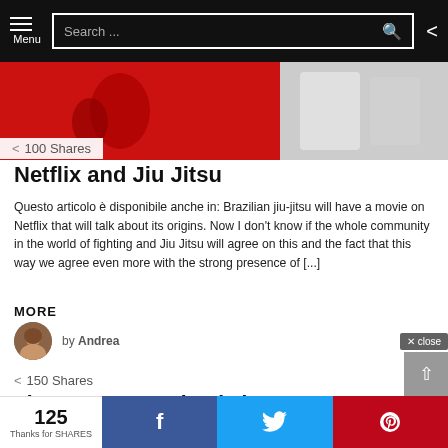Menu | Search ... | [share icon]
[Figure (photo): Hero image showing martial arts / Jiu Jitsu related content with red background]
100 Shares
Netflix and Jiu Jitsu
Questo articolo è disponibile anche in: Brazilian jiu-jitsu will have a movie on Netflix that will talk about its origins. Now I don't know if the whole community in the world of fighting and Jiu Jitsu will agree on this and the fact that this way we agree even more with the strong presence of [...]
MORE
by Andrea
150 Shares
The Open Mat, what is it?
Questo articolo è disponibile anche in: The Open Mat, what is it?. The
125 Thanks for SHARES | f | [twitter] | [pinterest] | × close